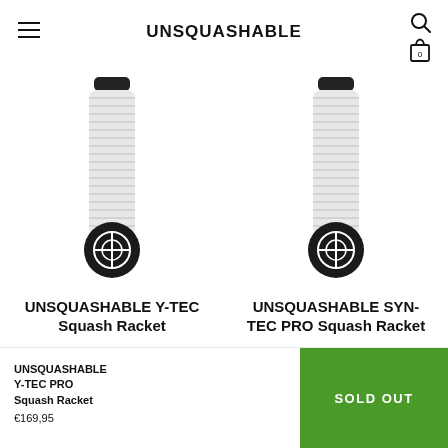UNSQUASHABLE
[Figure (photo): White squash racket grip handle for UNSQUASHABLE Y-TEC Squash Racket]
UNSQUASHABLE Y-TEC Squash Racket
€169,95
[Figure (photo): White squash racket grip handle for UNSQUASHABLE SYN-TEC PRO Squash Racket]
UNSQUASHABLE SYN-TEC PRO Squash Racket
€169,95
UNSQUASHABLE Y-TEC PRO Squash Racket
€169,95
SOLD OUT